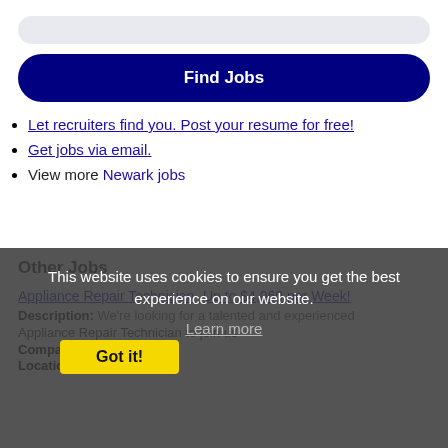[Figure (other): Light blue/gray rounded search bar placeholder at top]
Find Jobs
Let recruiters find you. Post your resume for free!
Get jobs via email.
View more Newark jobs
Other Jobs
Appliance Repair Technician- Up to $4,060 per Week!
Description: We're looking for a talented and experienced Appliance Repair Technician to join us
Company: PULS
Location: Nesconset
This website uses cookies to ensure you get the best experience on our website.
Learn more
Got it!